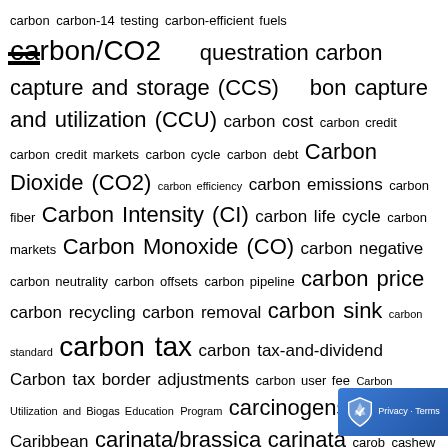carbon carbon-14 testing carbon-efficient fuels carbon/CO2 sequestration carbon capture and storage (CCS) carbon capture and utilization (CCU) carbon cost carbon credit carbon credit markets carbon cycle carbon debt Carbon Dioxide (CO2) carbon efficiency carbon emissions carbon fiber Carbon Intensity (CI) carbon life cycle carbon markets Carbon Monoxide (CO) carbon negative carbon neutrality carbon offsets carbon pipeline carbon price carbon recycling carbon removal carbon sink carbon standard carbon tax carbon tax-and-dividend Carbon tax border adjustments carbon user fee Carbon Utilization and Biogas Education Program carcinogens cardoon Caribbean carinata/brassica carinata carob cashew cashew apple CASI CAS Registry Cassava cassava price cassava pulp cassava stalk castor bean castor stalk catalysis catalysts catalytic decarboxylation catalytic hydrothermal conversion catalytic hydrothermal conversion-to-jet (CHCJ) catalytic hydrothermal gasification catalytic hydrothermolysis jet CHJ pathway cattle cavitation CBD (cannabidiol) CBG (compressed biogas) cellulase enzymes cellulose Cellulosic/Biomass Hydrogen cellulosic biofuel Cellulosic biomass cellulosic diesel Cellulosic ethanol cellulosic ethanol price cellulosic feedstock cellulosic production capacity cellulosic sugars cellulosic feedstock